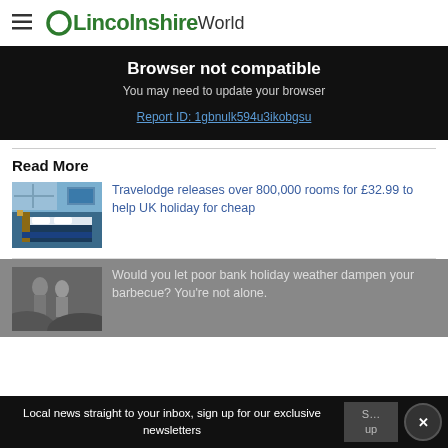OLincolnshireWorld
Browser not compatible
You may need to update your browser
Report ID: 1gbnulk594u3ikobgsu
Read More
[Figure (photo): Hotel room with blue bedding, Travelodge style]
Travelodge releases over 800,000 rooms for £32.99 to help UK holiday for cheap
[Figure (photo): People at a barbecue, partially visible]
Would you let poor bank holiday weather dampen your barbecue? You're not alone.
Local news straight to your inbox, sign up for our exclusive newsletters